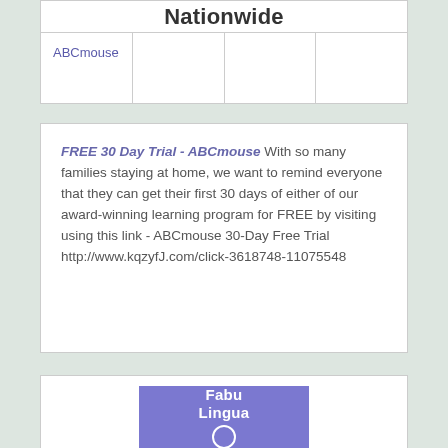Nationwide
| ABCmouse |  |  |  |
| --- | --- | --- | --- |
|  |
FREE 30 Day Trial - ABCmouse With so many families staying at home, we want to remind everyone that they can get their first 30 days of either of our award-winning learning program for FREE by visiting using this link - ABCmouse 30-Day Free Trial http://www.kqzyfJ.com/click-3618748-11075548
[Figure (logo): FabuLingua logo — purple/violet square background with white stylized text 'Fabu Lingua' and a white circle beneath the text]